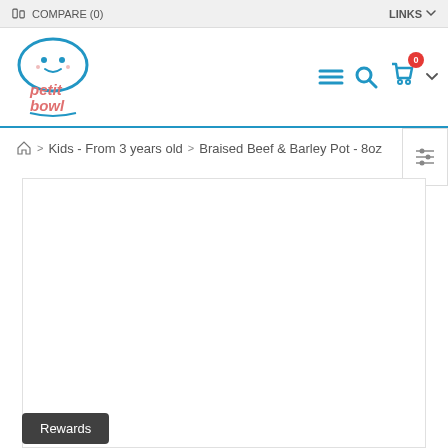COMPARE (0)   LINKS
[Figure (logo): Petit Bowl logo - cartoon bowl face in blue with pink/red text 'petit bowl' below]
Kids - From 3 years old > Braised Beef & Barley Pot - 8oz
[Figure (photo): Product image area - white/blank product image for Braised Beef & Barley Pot 8oz]
Rewards